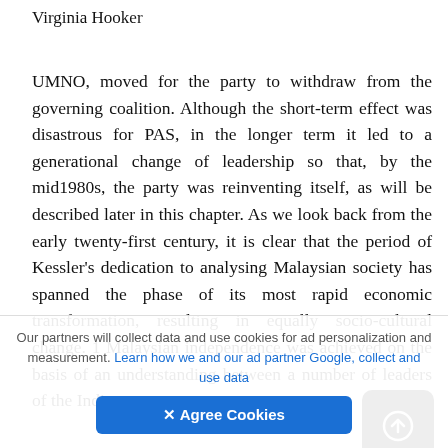Virginia Hooker
UMNO, moved for the party to withdraw from the governing coalition. Although the short-term effect was disastrous for PAS, in the longer term it led to a generational change of leadership so that, by the mid1980s, the party was reinventing itself, as will be described later in this chapter. As we look back from the early twenty-first century, it is clear that the period of Kessler's dedication to analysing Malaysian society has spanned the phase of its most rapid economic transformation, resulting in equally socio-cultural change. 1 Malaysian independence was achieved on the basis of an understanding between a number of leaders of the Indian,
Our partners will collect data and use cookies for ad personalization and measurement. Learn how we and our ad partner Google, collect and use data
✕ Agree Cookies